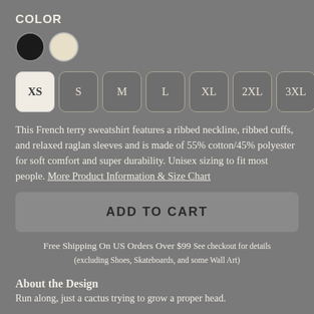COLOR
[Figure (other): Two color swatches: black circle and cream/off-white circle]
[Figure (other): Size selector buttons: XS (selected/white), S, M, L, XL, 2XL, 3XL]
This French terry sweatshirt features a ribbed neckline, ribbed cuffs, and relaxed raglan sleeves and is made of 55% cotton/45% polyester for soft comfort and super durability. Unisex sizing to fit most people. More Product Information & Size Chart
ADD TO CART
Free Shipping On US Orders Over $99 See checkout for details (excluding Shoes, Skateboards, and some Wall Art)
About the Design
Run along, just a cactus trying to grow a proper head.